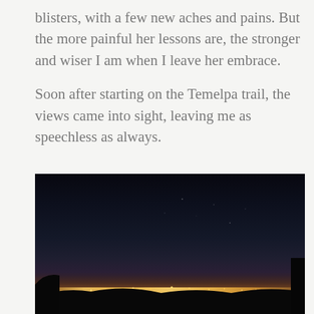blisters, with a few new aches and pains. But the more painful her lessons are, the stronger and wiser I am when I leave her embrace.
Soon after starting on the Temelpa trail, the views came into sight, leaving me as speechless as always.
[Figure (photo): Night-time cityscape photograph taken from an elevated trail viewpoint. The image shows a dark sky transitioning to a warm orange-brown horizon glow, with city lights spread across the lower portion of the frame. Silhouetted hills and sparse foliage visible in the foreground.]